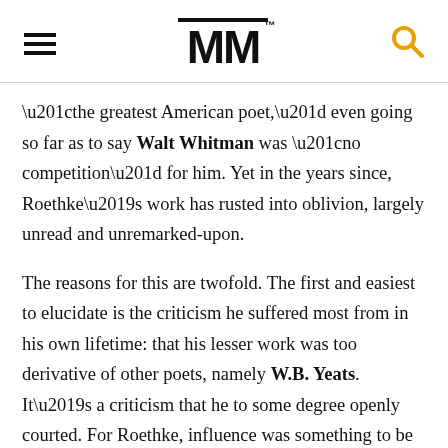MM
“the greatest American poet,” even going so far as to say Walt Whitman was “no competition” for him. Yet in the years since, Roethke’s work has rusted into oblivion, largely unread and unremarked-upon.
The reasons for this are twofold. The first and easiest to elucidate is the criticism he suffered most from in his own lifetime: that his lesser work was too derivative of other poets, namely W.B. Yeats. It’s a criticism that he to some degree openly courted. For Roethke, influence was something to be transcended by reveling in it. The poem of another could not be known, could not be truly inhabited, unless he had written it in